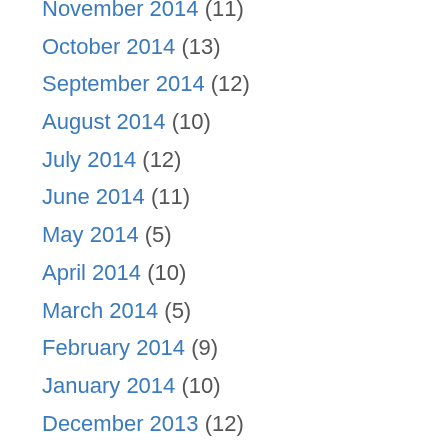November 2014 (11)
October 2014 (13)
September 2014 (12)
August 2014 (10)
July 2014 (12)
June 2014 (11)
May 2014 (5)
April 2014 (10)
March 2014 (5)
February 2014 (9)
January 2014 (10)
December 2013 (12)
November 2013 (9)
October 2013 (17)
September 2013 (14)